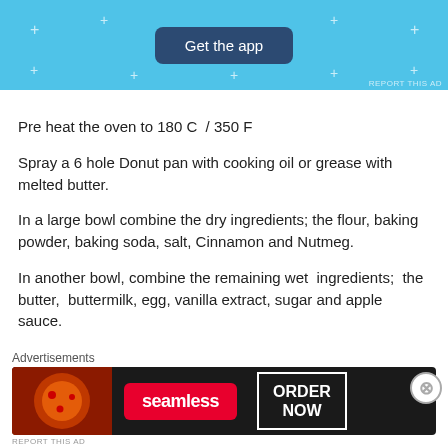[Figure (screenshot): Blue advertisement banner with 'Get the app' button and sparkle decorations]
Pre heat the oven to 180 C  / 350 F
Spray a 6 hole Donut pan with cooking oil or grease with melted butter.
In a large bowl combine the dry ingredients; the flour, baking powder, baking soda, salt, Cinnamon and Nutmeg.
In another bowl, combine the remaining wet  ingredients;  the butter,  buttermilk, egg, vanilla extract, sugar and apple sauce.
Advertisements
[Figure (screenshot): Seamless food delivery advertisement with pizza image and ORDER NOW button on dark background]